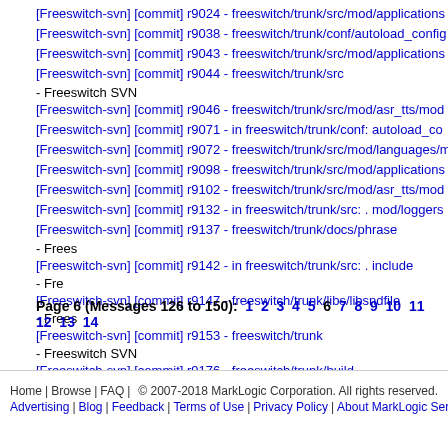[Freeswitch-svn] [commit] r9024 - freeswitch/trunk/src/mod/applications
[Freeswitch-svn] [commit] r9038 - freeswitch/trunk/conf/autoload_config
[Freeswitch-svn] [commit] r9043 - freeswitch/trunk/src/mod/applications
[Freeswitch-svn] [commit] r9044 - freeswitch/trunk/src - Freeswitch SVN
[Freeswitch-svn] [commit] r9046 - freeswitch/trunk/src/mod/asr_tts/mod
[Freeswitch-svn] [commit] r9071 - in freeswitch/trunk/conf: autoload_co
[Freeswitch-svn] [commit] r9072 - freeswitch/trunk/src/mod/languages/m
[Freeswitch-svn] [commit] r9098 - freeswitch/trunk/src/mod/applications
[Freeswitch-svn] [commit] r9102 - freeswitch/trunk/src/mod/asr_tts/mod
[Freeswitch-svn] [commit] r9132 - in freeswitch/trunk/src: . mod/loggers
[Freeswitch-svn] [commit] r9137 - freeswitch/trunk/docs/phrase - Frees
[Freeswitch-svn] [commit] r9142 - in freeswitch/trunk/src: . include - Fre
[Freeswitch-svn] [commit] r9147 - freeswitch/trunk/libs/libsndfile - Frees
[Freeswitch-svn] [commit] r9153 - freeswitch/trunk - Freeswitch SVN
[Freeswitch-svn] [commit] r9176 - freeswitch/trunk/build - Freeswitch SV
[Freeswitch-svn] [commit] r9189 - in freeswitch/trunk: . src/mod/asr_tts/
[Freeswitch-svn] [commit] r9214 - freeswitch/trunk/src/mod/languages/m
Page 6 (Messages 126 to 150): 1 2 3 4 5 6 7 8 9 10 11 12 13 14
Home | Browse | FAQ | © 2007-2018 MarkLogic Corporation. All rights reserved. Advertising | Blog | Feedback | Terms of Use | Privacy Policy | About MarkLogic Server